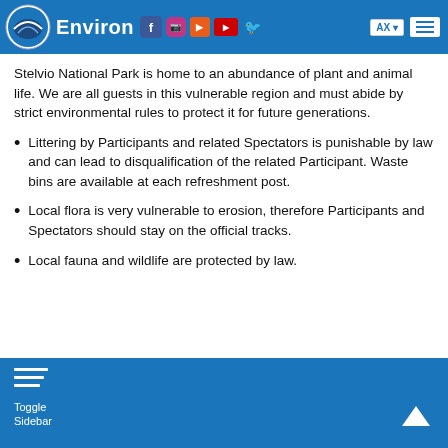Environment — Stelvio National Park
Stelvio National Park is home to an abundance of plant and animal life. We are all guests in this vulnerable region and must abide by strict environmental rules to protect it for future generations.
Littering by Participants and related Spectators is punishable by law and can lead to disqualification of the related Participant. Waste bins are available at each refreshment post.
Local flora is very vulnerable to erosion, therefore Participants and Spectators should stay on the official tracks.
Local fauna and wildlife are protected by law.
Toggle Sidebar